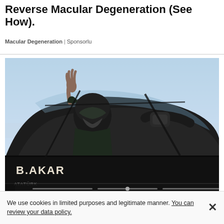Reverse Macular Degeneration (See How).
Macular Degeneration | Sponsorlu
[Figure (photo): Fighter jet cockpit photo showing a pilot in helmet and mask waving, with 'B.AKAR' text visible on the cockpit exterior. A progress/scrubber bar is visible at the bottom of the image.]
We use cookies in limited purposes and legitimate manner. You can review your data policy.